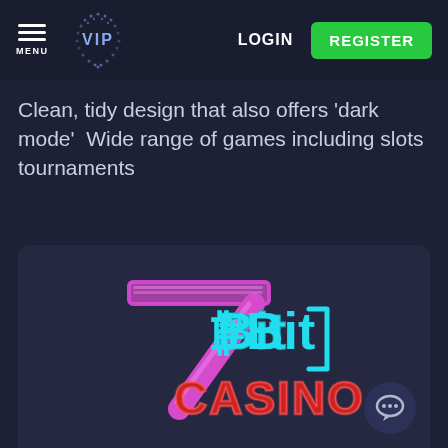MENU  VIP  LOGIN  REGISTER
Clean, tidy design that also offers 'dark mode'  Wide range of games including slots tournaments
[Figure (logo): 7Bit Casino logo with neon 7 in pink/magenta and blue, with 'Bit' in blue and 'CASINO' in red on a dark blue background]